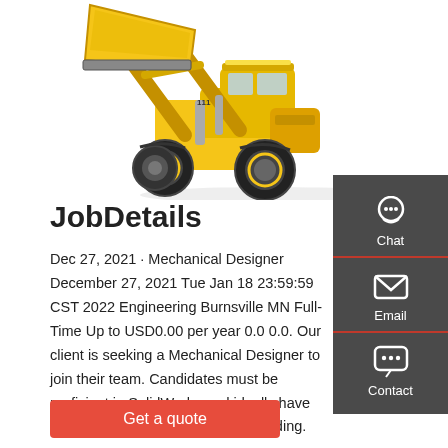[Figure (photo): Yellow front-end loader / wheel loader construction machine with large bucket raised, photographed on white background]
JobDetails
Dec 27, 2021 · Mechanical Designer December 27, 2021 Tue Jan 18 23:59:59 CST 2022 Engineering Burnsville MN Full-Time Up to USD0.00 per year 0.0 0.0. Our client is seeking a Mechanical Designer to join their team. Candidates must be proficient in SolidWorks and ideally have some experience with injection molding.
[Figure (infographic): Dark grey sidebar with Chat (headset icon), Email (envelope icon), and Contact (speech bubble icon) buttons, each separated by a red divider line]
Get a quote